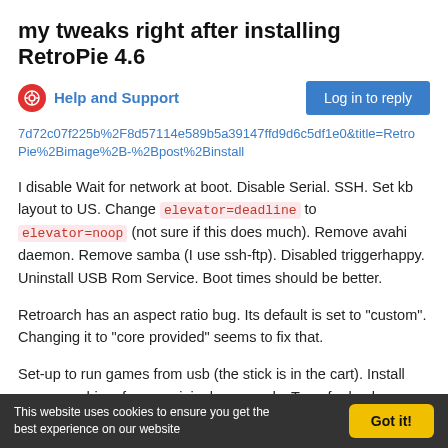my tweaks right after installing RetroPie 4.6
Help and Support | Log in to reply
7d72c07f225b%2F8d57114e589b5a39147ffd9d6c5df1e0&title=RetroPie%2Bimage%2B-%2Bpost%2Binstall
I disable Wait for network at boot. Disable Serial. SSH. Set kb layout to US. Change elevator=deadline to elevator=noop (not sure if this does much). Remove avahi daemon. Remove samba (I use ssh-ftp). Disabled triggerhappy. Uninstall USB Rom Service. Boot times should be better.
Retroarch has an aspect ratio bug. Its default is set to "custom". Changing it to "core provided" seems to fix that.
Set-up to run games from usb (the stick is in the cart). Install gamecon driver for my original snes pads. Transfer back scraped art, configs, etc. Install the pegasus frontend. Install my personal buggy crappy custom stock theme but I love it.
This website uses cookies to ensure you get the best experience on our website | Got it!